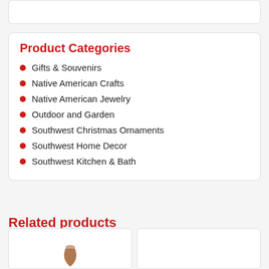Product Categories
Gifts & Souvenirs
Native American Crafts
Native American Jewelry
Outdoor and Garden
Southwest Christmas Ornaments
Southwest Home Decor
Southwest Kitchen & Bath
Related products
[Figure (photo): Product image placeholder at bottom left]
[Figure (photo): Product image placeholder at bottom right]